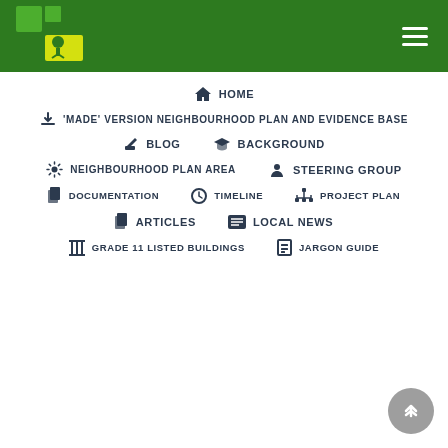[Figure (logo): Green squares logo with plant/tree icon]
HOME
'MADE' VERSION NEIGHBOURHOOD PLAN AND EVIDENCE BASE
BLOG
BACKGROUND
NEIGHBOURHOOD PLAN AREA
STEERING GROUP
DOCUMENTATION
TIMELINE
PROJECT PLAN
ARTICLES
LOCAL NEWS
GRADE 11 LISTED BUILDINGS
JARGON GUIDE